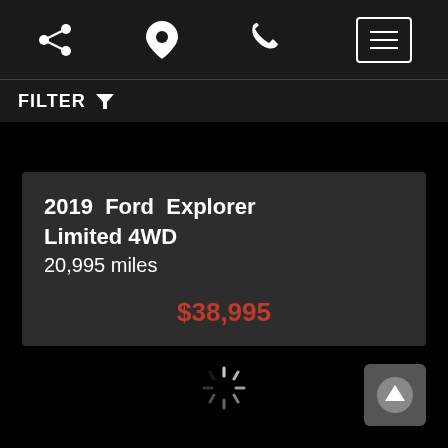[Figure (screenshot): Mobile app navigation bar with share icon, location pin icon, phone icon, and hamburger menu button]
FILTER
2019 Ford Explorer Limited 4WD
20,995 miles
$38,995
[Figure (other): Loading spinner animation at bottom center of page]
[Figure (other): Scroll to top button with upward arrow icon at bottom right]